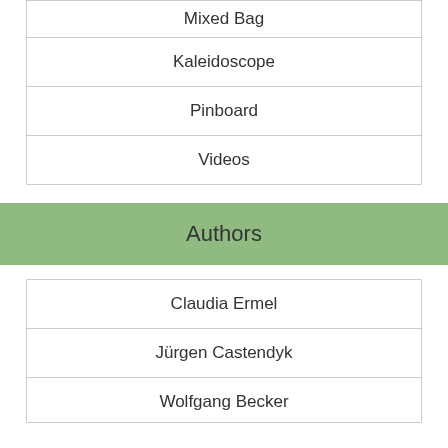| Mixed Bag |
| Kaleidoscope |
| Pinboard |
| Videos |
Authors
| Claudia Ermel |
| Jürgen Castendyk |
| Wolfgang Becker |